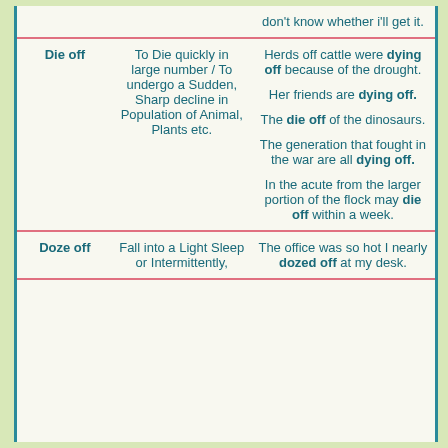| Phrasal Verb | Meaning | Example Sentences |
| --- | --- | --- |
|  | don't know whether i'll get it. |  |
| Die off | To Die quickly in large number / To undergo a Sudden, Sharp decline in Population of Animal, Plants etc. | Herds off cattle were dying off because of the drought.
Her friends are dying off.
The die off of the dinosaurs.
The generation that fought in the war are all dying off.
In the acute from the larger portion of the flock may die off within a week. |
| Doze off | Fall into a Light Sleep or Intermittently, | The office was so hot I nearly dozed off at my desk. |